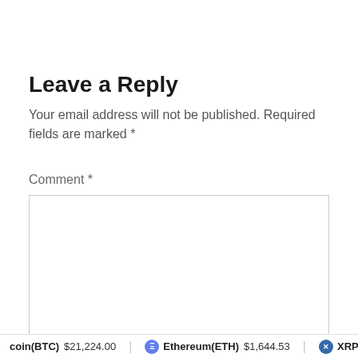Leave a Reply
Your email address will not be published. Required fields are marked *
Comment *
coin(BTC) $21,224.00   Ethereum(ETH) $1,644.53   XRP(XRP